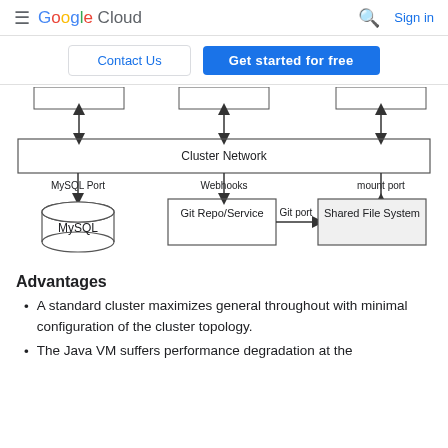Google Cloud  Sign in
Contact Us  |  Get started for free
[Figure (flowchart): Architecture diagram showing Cluster Network connected to MySQL (via MySQL Port), Git Repo/Service (via Webhooks), and Shared File System (via mount port). Git Repo/Service connects to Shared File System via Git port. Three boxes at top connect via arrows to the Cluster Network.]
Advantages
A standard cluster maximizes general throughout with minimal configuration of the cluster topology.
The Java VM suffers performance degradation at the